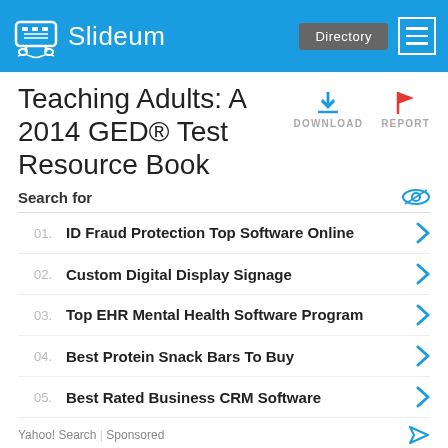Slideum | Directory
Teaching Adults: A 2014 GED® Test Resource Book
Search for
01. ID Fraud Protection Top Software Online
02. Custom Digital Display Signage
03. Top EHR Mental Health Software Program
04. Best Protein Snack Bars To Buy
05. Best Rated Business CRM Software
Yahoo! Search | Sponsored